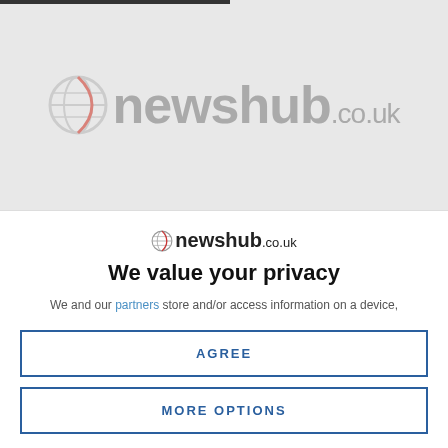[Figure (logo): newshub.co.uk logo shown large in grey on light grey background]
[Figure (logo): newshub.co.uk small logo in privacy consent dialog]
We value your privacy
We and our partners store and/or access information on a device,
such as cookies and process personal data, such as unique identifiers
AGREE
MORE OPTIONS